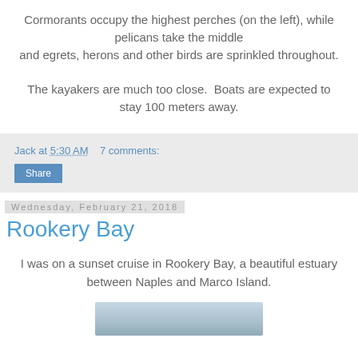Cormorants occupy the highest perches (on the left), while pelicans take the middle and egrets, herons and other birds are sprinkled throughout.
The kayakers are much too close.  Boats are expected to stay 100 meters away.
Jack at 5:30 AM    7 comments:
Share
Wednesday, February 21, 2018
Rookery Bay
I was on a sunset cruise in Rookery Bay, a beautiful estuary between Naples and Marco Island.
[Figure (photo): Partial view of a photo, appears to show a hazy outdoor/water scene, cut off at bottom of page]